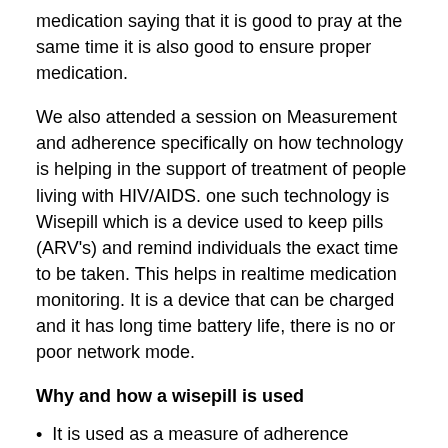medication saying that it is good to pray at the same time it is also good to ensure proper medication.
We also attended a session on Measurement and adherence specifically on how technology is helping in the support of treatment of people living with HIV/AIDS. one such technology is Wisepill which is a device used to keep pills (ARV's) and remind individuals the exact time to be taken. This helps in realtime medication monitoring. It is a device that can be charged and it has long time battery life, there is no or poor network mode.
Why and how a wisepill is used
It is used as a measure of adherence
It is designed for adults receiving treatment